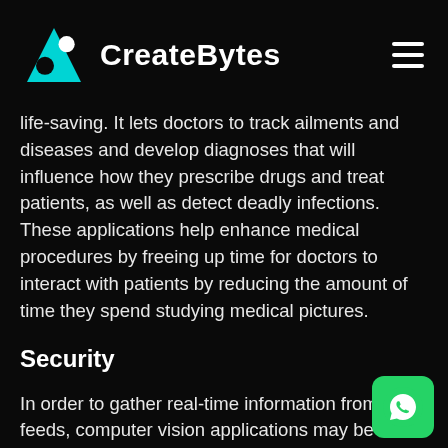CreateBytes
life-saving. It lets doctors to track ailments and diseases and develop diagnoses that will influence how they prescribe drugs and treat patients, as well as detect deadly infections. These applications help enhance medical procedures by freeing up time for doctors to interact with patients by reducing the amount of time they spend studying medical pictures.
Security
In order to gather real-time information from video feeds, computer vision applications may be incorporated into security cameras. Face recognition technology is also frequently utilised in a variety of sectors for authentication.